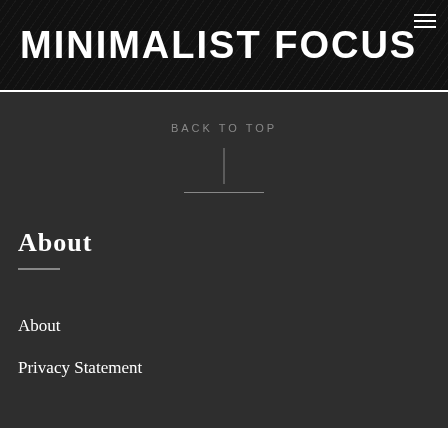MINIMALIST FOCUS
BACK TO TOP
About
About
Privacy Statement